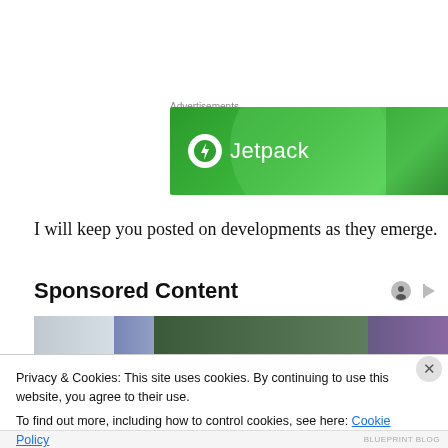Advertisements
[Figure (logo): Jetpack advertisement banner — green background with Jetpack logo (lightning bolt in white circle) and white text 'Jetpack']
I will keep you posted on developments as they emerge.
Sponsored Content
[Figure (photo): Partial photo showing dark background with colorful rope or fabric element at top]
Privacy & Cookies: This site uses cookies. By continuing to use this website, you agree to their use.
To find out more, including how to control cookies, see here: Cookie Policy